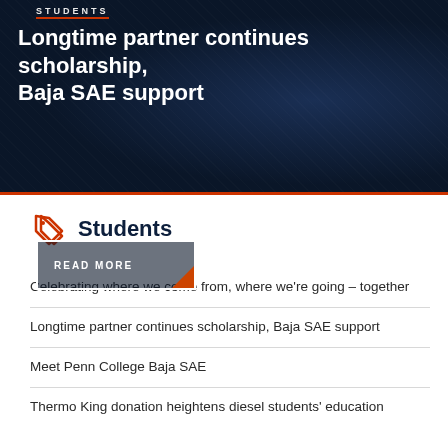STUDENTS
Longtime partner continues scholarship, Baja SAE support
READ MORE
Students
Celebrating where we come from, where we're going – together
Longtime partner continues scholarship, Baja SAE support
Meet Penn College Baja SAE
Thermo King donation heightens diesel students' education